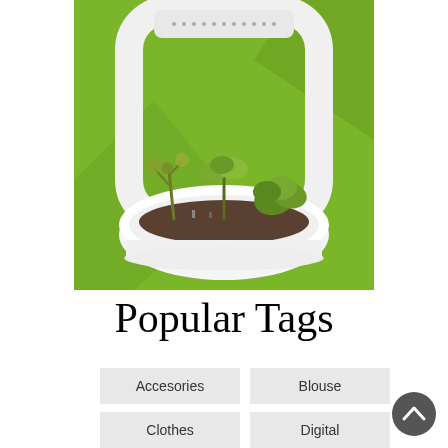[Figure (photo): A modern indoor plant garden device with a white rounded square frame handle and a white oval planter containing various succulents and small plants against a bright green background.]
Popular Tags
Accesories
Blouse
Clothes
Digital